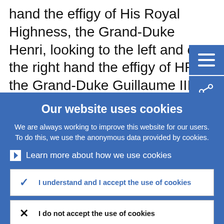hand the effigy of His Royal Highness, the Grand-Duke Henri, looking to the left and on the right hand the effigy of HRH the Grand-Duke Guillaume III. At the top of the design is depicted the year-date ‘2017’. At
Our website uses cookies
We are always working to improve this website for our users. To do this, we use the anonymous data provided by cookies.
› Learn more about how we use cookies
I understand and I accept the use of cookies
I do not accept the use of cookies